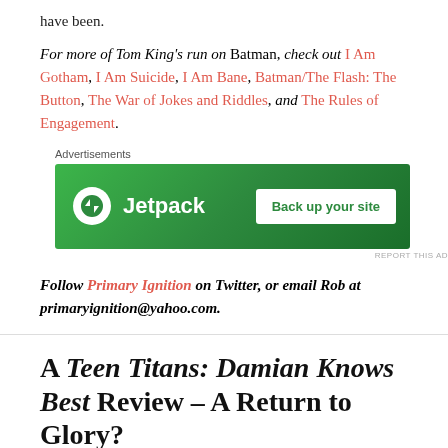have been.
For more of Tom King's run on Batman, check out I Am Gotham, I Am Suicide, I Am Bane, Batman/The Flash: The Button, The War of Jokes and Riddles, and The Rules of Engagement.
[Figure (other): Jetpack advertisement banner with green background, Jetpack logo and 'Back up your site' button]
Follow Primary Ignition on Twitter, or email Rob at primaryignition@yahoo.com.
A Teen Titans: Damian Knows Best Review – A Return to Glory?